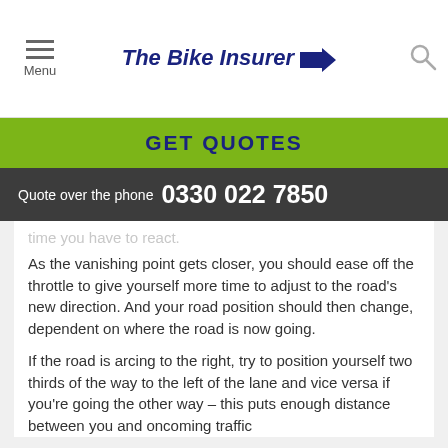Menu | The Bike Insurer | Search
GET QUOTES
Quote over the phone  0330 022 7850
time you have to react.
As the vanishing point gets closer, you should ease off the throttle to give yourself more time to adjust to the road's new direction. And your road position should then change, dependent on where the road is now going.
If the road is arcing to the right, try to position yourself two thirds of the way to the left of the lane and vice versa if you're going the other way – this puts enough distance between you and oncoming traffic